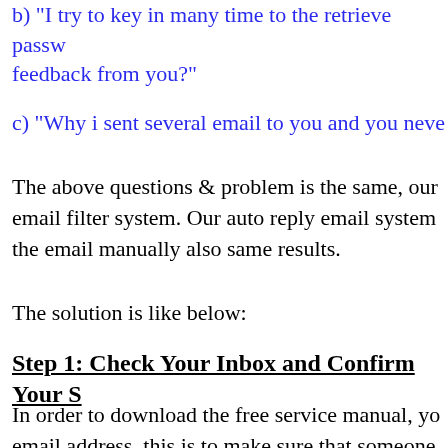b) "I try to key in many time to the retrieve passw feedback from you?"
c) "Why i sent several email to you and you neve
The above questions & problem is the same, our email filter system. Our auto reply email system the email manually also same results.
The solution is like below:
Step 1: Check Your Inbox and Confirm Your S
In order to download the free service manual, yo email address, this is to make sure that someone address without your permission and is required
Please check your email box as in just a few mo confirmation request email.
Simply click on the confirmation link in the ema then we can send you the download link straight
Once you've clicked on the confirmation link you